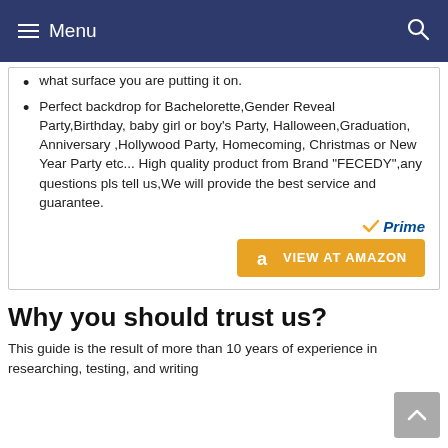Menu
what surface you are putting it on.
Perfect backdrop for Bachelorette,Gender Reveal Party,Birthday, baby girl or boy's Party, Halloween,Graduation, Anniversary ,Hollywood Party, Homecoming, Christmas or New Year Party etc... High quality product from Brand "FECEDY",any questions pls tell us,We will provide the best service and guarantee.
[Figure (logo): Amazon Prime badge with checkmark and 'Prime' text in blue italic, and an orange 'VIEW AT AMAZON' button with Amazon 'a' logo]
Why you should trust us?
This guide is the result of more than 10 years of experience in researching, testing, and writing